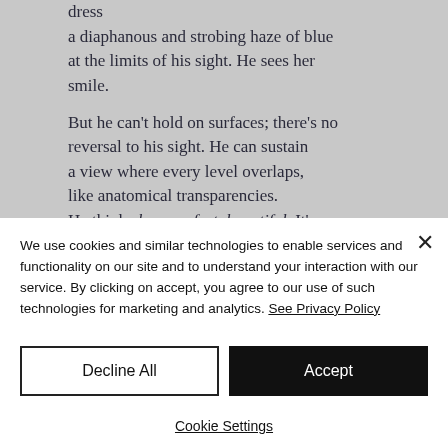dress
a diaphanous and strobing haze of blue at the limits of his sight. He sees her smile.

But he can't hold on surfaces; there's no reversal to his sight. He can sustain a view where every level overlaps, like anatomical transparencies. He thinks how perfect, beautiful. It's enough.
We use cookies and similar technologies to enable services and functionality on our site and to understand your interaction with our service. By clicking on accept, you agree to our use of such technologies for marketing and analytics. See Privacy Policy
Decline All
Accept
Cookie Settings